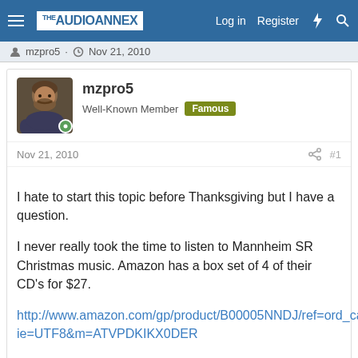THE AUDIO ANNEX — Log in  Register
mzpro5 · Nov 21, 2010
mzpro5
Well-Known Member Famous
Nov 21, 2010  #1
I hate to start this topic before Thanksgiving but I have a question.

I never really took the time to listen to Mannheim SR Christmas music. Amazon has a box set of 4 of their CD's for $27.

http://www.amazon.com/gp/product/B00005NNDJ/ref=ord_cart_shr?ie=UTF8&m=ATVPDKIKX0DER

I know people that seem to go ga-ga over this stuff. is it really any good?